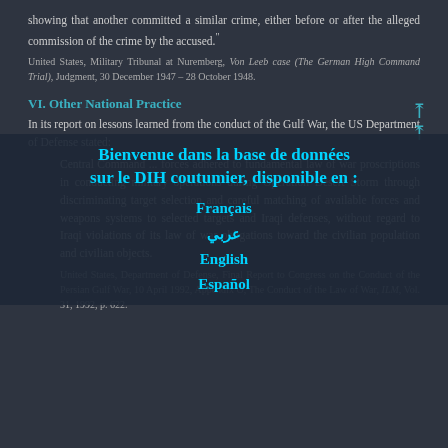showing that another committed a similar crime, either before or after the alleged commission of the crime by the accused."
United States, Military Tribunal at Nuremberg, Von Leeb case (The German High Command Trial), Judgment, 30 December 1947 – 28 October 1948.
VI. Other National Practice
In its report on lessons learned from the conduct of the Gulf War, the US Department of Defense stated:
Central Command ... forces adhered to fundamental law of war proscriptions in conducting military operations during Operation Desert Storm through discriminating target selection and careful matching of available forces and weapons systems to selected targets and Iraqi defenses, without regard to Iraqi violations of its law of war obligations toward the civilian population and civilian objects.
United States, Department of Defense, Final Report to Congress on the Conduct of the Persian Gulf War, 10 April 1992, Appendix O, The Conduct of the Law of War, ILM, Vol. 31, 1992, p. 622.
[Figure (infographic): Overlay welcome banner for the customary IHL database in French, Arabic, English, and Spanish language options]
Bienvenue dans la base de données sur le DIH coutumier, disponible en :
Français
عربي
English
Español